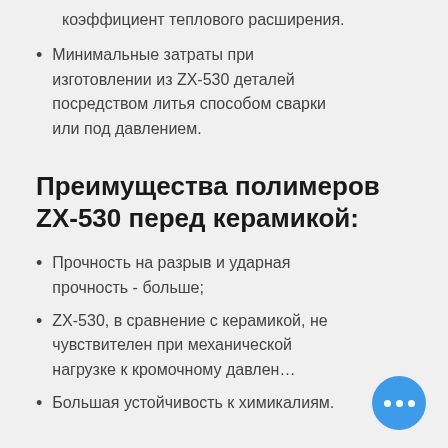коэффициент теплового расширения.
Минимальные затраты при изготовлении из ZX-530 деталей посредством литья способом сварки или под давлением.
Преимущества полимеров ZX-530 перед керамикой:
Прочность на разрыв и ударная прочность - больше;
ZX-530, в сравнение с керамикой, не чувствителен при механической нагрузке к кромочному давлен...
Большая устойчивость к химикалиям.